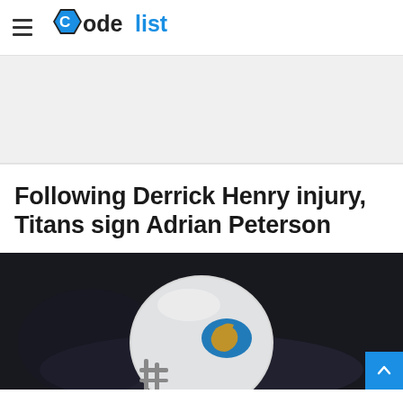CodeList
[Figure (other): Advertisement/banner area (gray placeholder)]
Following Derrick Henry injury, Titans sign Adrian Peterson
[Figure (photo): Photo of a football player wearing a Detroit Lions helmet, dark background]